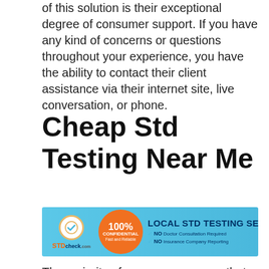of this solution is their exceptional degree of consumer support. If you have any kind of concerns or questions throughout your experience, you have the ability to contact their client assistance via their internet site, live conversation, or phone.
Cheap Std Testing Near Me
[Figure (infographic): STDcheck.com advertisement banner: blue background, 100% Confidential Fast and Reliable orange circle, LOCAL STD TESTING SERVICES, NO Doctor Consultation Required, NO Insurance Company Reporting, LEARN MORE button]
The majority of consumers concur that this company is reputable as well as provides a